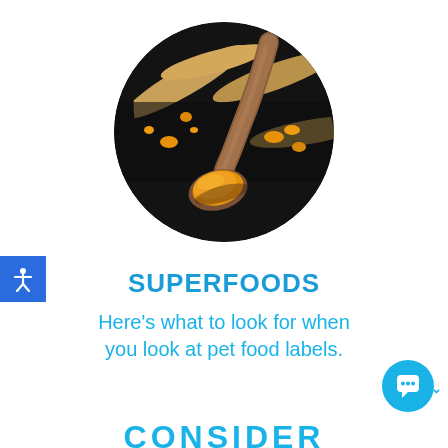[Figure (photo): Circular photo of turmeric powder on a wooden spoon with turmeric roots arranged on a dark background]
SUPERFOODS
Here’s what to look for when you look at pet food labels.